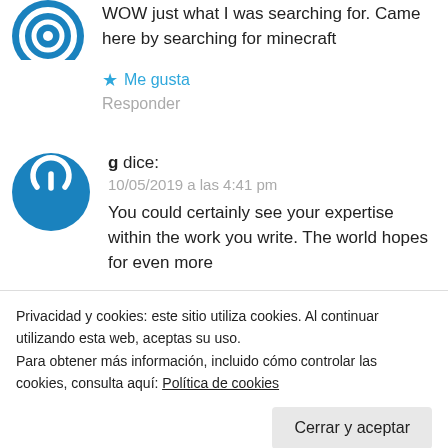[Figure (illustration): Blue circular avatar icon with white layered rings at top of page, partially cropped]
WOW just what I was searching for. Came here by searching for minecraft
★ Me gusta
Responder
[Figure (illustration): Blue circular avatar icon with white power symbol]
g dice:
10/05/2019 a las 4:41 pm
You could certainly see your expertise within the work you write. The world hopes for even more
Privacidad y cookies: este sitio utiliza cookies. Al continuar utilizando esta web, aceptas su uso.
Para obtener más información, incluido cómo controlar las cookies, consulta aquí: Política de cookies
Cerrar y aceptar
★ Me gusta